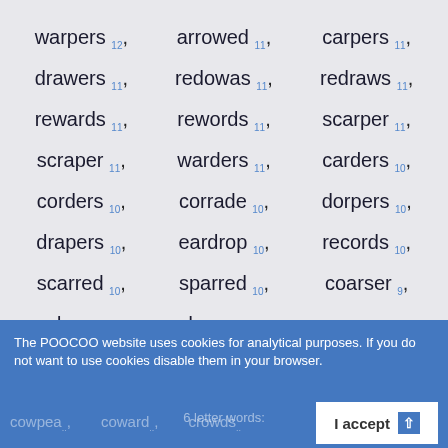warpers 12, arrowed 11, carpers 11, drawers 11, redowas 11, redraws 11, rewards 11, rewords 11, scarper 11, scraper 11, warders 11, carders 10, corders 10, corrade 10, dorpers 10, drapers 10, eardrop 10, records 10, scarred 10, sparred 10, coarser 9, adorers 8, drosera 9, roarers 7
The POOCOO website uses cookies for analytical purposes. If you do not want to use cookies disable them in your browser.
6 letter words:
cowpea .., coward .., crowds ..
I accept